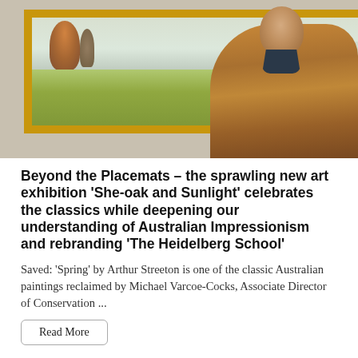[Figure (photo): A bald man wearing a brown/tan jacket stands in front of a large gold-framed painting showing an Australian landscape with trees and green fields under a pale sky — 'Spring' by Arthur Streeton.]
Beyond the Placemats – the sprawling new art exhibition 'She-oak and Sunlight' celebrates the classics while deepening our understanding of Australian Impressionism and rebranding 'The Heidelberg School'
Saved: 'Spring' by Arthur Streeton is one of the classic Australian paintings reclaimed by Michael Varcoe-Cocks, Associate Director of Conservation ...
Read More